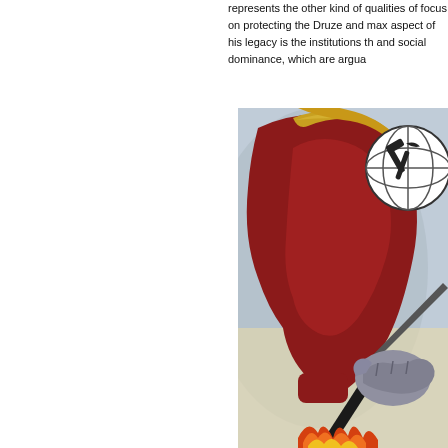represents the other kind of qualities of focus on protecting the Druze and max aspect of his legacy is the institutions th and social dominance, which are argua
[Figure (illustration): A painted illustration showing a profile of a face (rendered in red/brown tones) facing left, with blonde/golden hair. Behind the face is a globe symbol with crossed tools (hammer and pick). Below, a clenched fist grips a sword/blade, with flames at the bottom. Style is bold socialist realist propaganda art.]